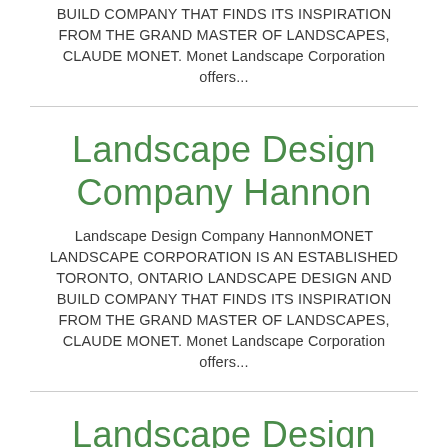BUILD COMPANY THAT FINDS ITS INSPIRATION FROM THE GRAND MASTER OF LANDSCAPES, CLAUDE MONET. Monet Landscape Corporation offers...
Landscape Design Company Hannon
Landscape Design Company HannonMONET LANDSCAPE CORPORATION IS AN ESTABLISHED TORONTO, ONTARIO LANDSCAPE DESIGN AND BUILD COMPANY THAT FINDS ITS INSPIRATION FROM THE GRAND MASTER OF LANDSCAPES, CLAUDE MONET. Monet Landscape Corporation offers...
Landscape Design Company Lans b...